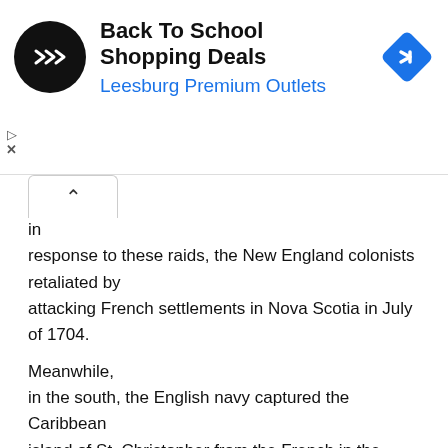[Figure (infographic): Advertisement banner for 'Back To School Shopping Deals' at Leesburg Premium Outlets. Features a black circular logo with double arrow icons, bold title text, blue subtitle, and a blue diamond-shaped navigation arrow icon on the right. Small play and close (X) controls on the left side.]
in response to these raids, the New England colonists retaliated by attacking French settlements in Nova Scotia in July of 1704.

Meanwhile, in the south, the English navy captured the Caribbean island of St. Christopher from the French in the summer of 1702, while Spanish and Apalachee Indian forces attacked Creek Indians in Georgia during the Battle of Flint River in October of 1702, while soldiers from the Province of Carolina attacked and captured the